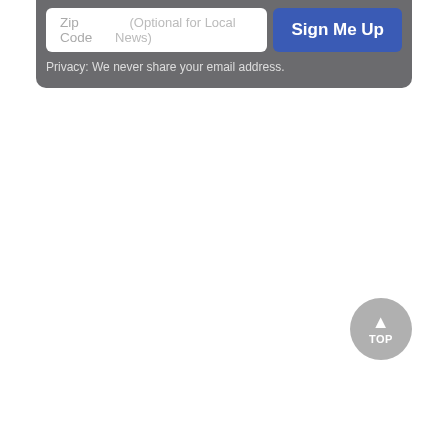[Figure (screenshot): Email signup form widget with zip code input field and Sign Me Up button on a gray background]
Privacy: We never share your email address.
[Figure (other): Back to top button — circular gray button with upward arrow and TOP label]